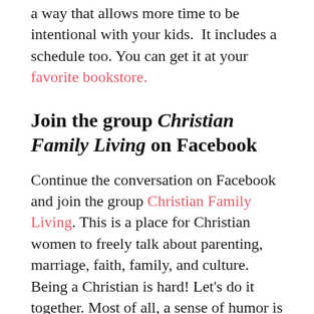a way that allows more time to be intentional with your kids.  It includes a schedule too. You can get it at your favorite bookstore.
Join the group Christian Family Living on Facebook
Continue the conversation on Facebook and join the group Christian Family Living. This is a place for Christian women to freely talk about parenting, marriage, faith, family, and culture. Being a Christian is hard! Let's do it together. Most of all, a sense of humor is